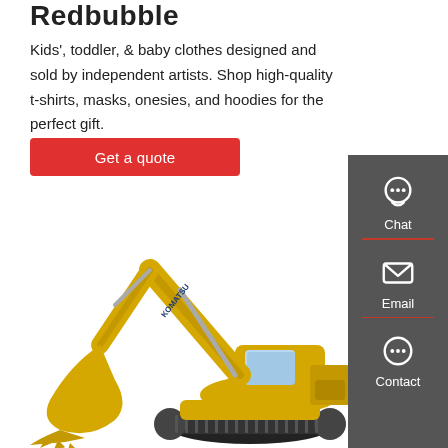Redbubble
Kids', toddler, & baby clothes designed and sold by independent artists. Shop high-quality t-shirts, masks, onesies, and hoodies for the perfect gift.
Get a quote
[Figure (photo): Yellow Komatsu excavator/crawler on a white background]
[Figure (infographic): Dark gray sidebar with Chat, Email, and Contact icons and labels]